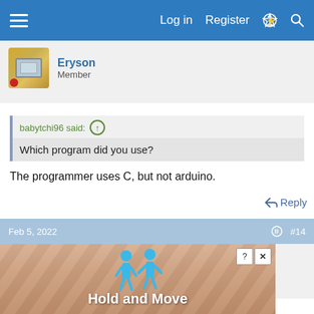Log in  Register
[Figure (photo): Avatar of user Eryson showing a yellow handheld device with a screen]
Eryson
Member
babytchi96 said: ↑
Which program did you use?
The programmer uses C, but not arduino.
↩ Reply
Feb 5, 2022  #14
[Figure (photo): Avatar of user Eryson showing a yellow handheld device with a screen]
Eryson
Member
[Figure (screenshot): Advertisement banner showing 'Hold and Move' with two blue figures]